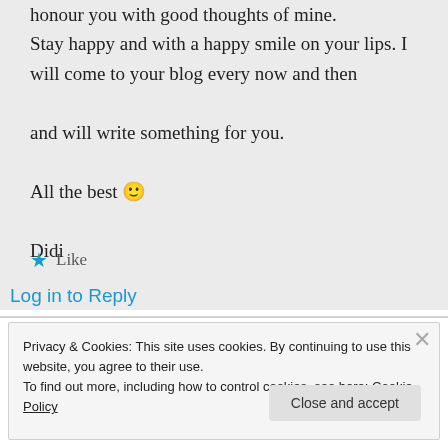honour you with good thoughts of mine. Stay happy and with a happy smile on your lips. I will come to your blog every now and then

and will write something for you.

All the best 🙂

Didi
★ Like
Log in to Reply
Privacy & Cookies: This site uses cookies. By continuing to use this website, you agree to their use.
To find out more, including how to control cookies, see here: Cookie Policy
Close and accept